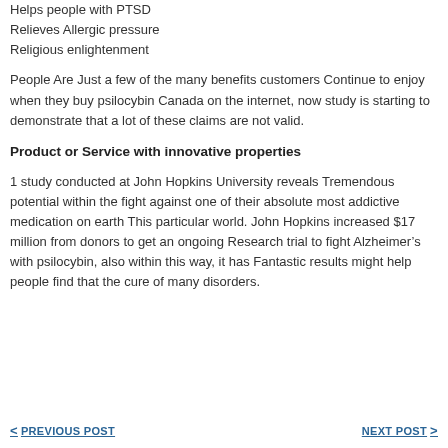Helps people with PTSD
Relieves Allergic pressure
Religious enlightenment
People Are Just a few of the many benefits customers Continue to enjoy when they buy psilocybin Canada on the internet, now study is starting to demonstrate that a lot of these claims are not valid.
Product or Service with innovative properties
1 study conducted at John Hopkins University reveals Tremendous potential within the fight against one of their absolute most addictive medication on earth This particular world. John Hopkins increased $17 million from donors to get an ongoing Research trial to fight Alzheimer’s with psilocybin, also within this way, it has Fantastic results might help people find that the cure of many disorders.
< PREVIOUS POST   NEXT POST >